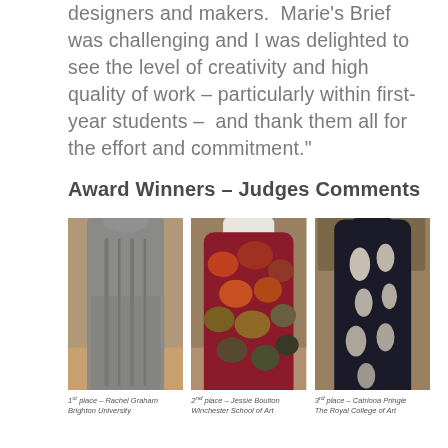designers and makers.  Marie's Brief was challenging and I was delighted to see the level of creativity and high quality of work – particularly within first-year students –  and thank them all for the effort and commitment."
Award Winners – Judges Comments
[Figure (photo): Three knitted garments on mannequins displayed side by side. Left: grey cable-knit turtleneck dress (1st place, Rachel Graham, Brighton University). Middle: colourful chunky pom-pom/textured wrap/shawl in reds and oranges (2nd place, Jessie Boulton, Winchester School of Art). Right: dark navy blue sweater with cut-out leaf/petal shapes (3rd place, Catriona Pringle, The Royal College of Art).]
1st place – Rachel Graham
Brighton University
2nd place – Jessie Boulton
Winchester School of Art
3rd place – Catriona Pringle
The Royal College of Art